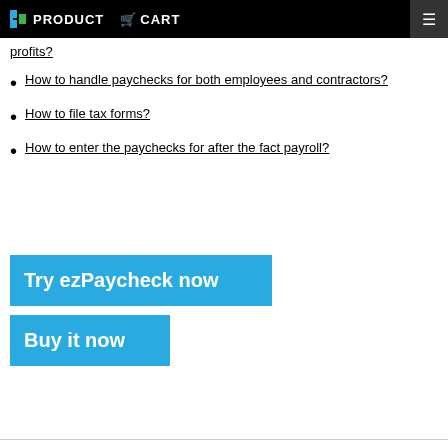PRODUCT   CART
profits?
How to handle paychecks for both employees and contractors?
How to file tax forms?
How to enter the paychecks for after the fact payroll?
Try ezPaycheck now
Buy it now